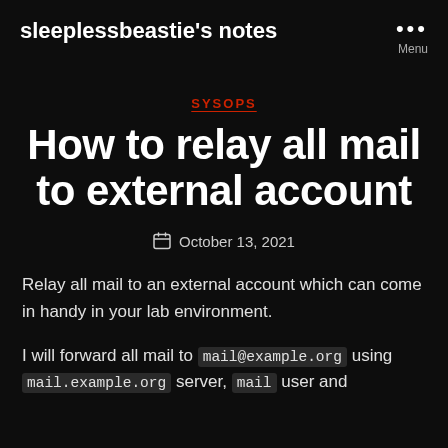sleeplessbeastie's notes
SYSOPS
How to relay all mail to external account
October 13, 2021
Relay all mail to an external account which can come in handy in your lab environment.
I will forward all mail to mail@example.org using mail.example.org server, mail user and